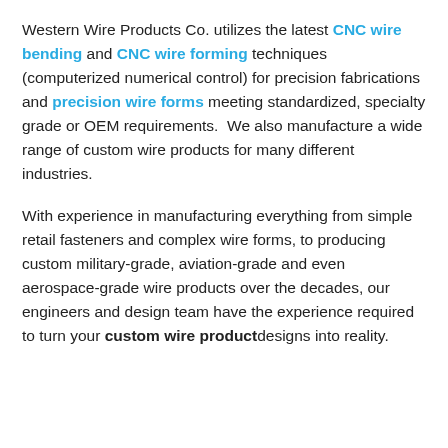Western Wire Products Co. utilizes the latest CNC wire bending and CNC wire forming techniques (computerized numerical control) for precision fabrications and precision wire forms meeting standardized, specialty grade or OEM requirements.  We also manufacture a wide range of custom wire products for many different industries.
With experience in manufacturing everything from simple retail fasteners and complex wire forms, to producing custom military-grade, aviation-grade and even aerospace-grade wire products over the decades, our engineers and design team have the experience required to turn your custom wire product designs into reality.